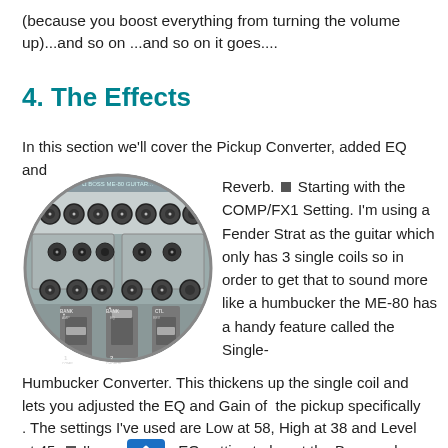(because you boost everything from turning the volume up)...and so on ...and so on it goes....
4. The Effects
In this section we'll cover the Pickup Converter, added EQ and Reverb. ■ Starting with the COMP/FX1 Setting. I'm using a Fender Strat as the guitar which only has 3 single coils so in order to get that to sound more like a humbucker the ME-80 has a handy feature called the Single-Humbucker Converter. This thickens up the single coil and lets you adjusted the EQ and Gain of the pickup specifically . The settings I've used are Low at 58, High at 38 and Level at 45. ■ I've used the EQ setting to boost the Bass and Treble response even further
[Figure (photo): Circular cropped photo of a guitar effects processor/mixer showing knobs, sliders, and bank controls labeled BANK AMP, BANK EQ, CTL, COMP, CHORUS]